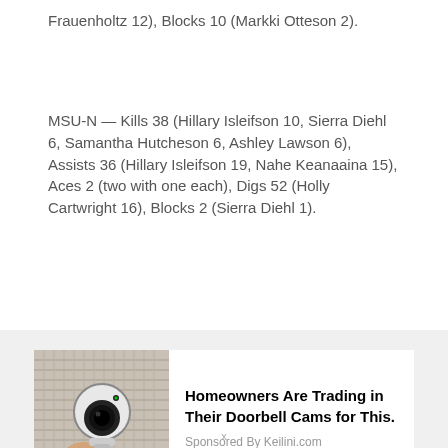Frauenholtz 12), Blocks 10 (Markki Otteson 2).
MSU-N — Kills 38 (Hillary Isleifson 10, Sierra Diehl 6, Samantha Hutcheson 6, Ashley Lawson 6), Assists 36 (Hillary Isleifson 19, Nahe Keanaaina 15), Aces 2 (two with one each), Digs 52 (Holly Cartwright 16), Blocks 2 (Sierra Diehl 1).
[Figure (other): Advertisement showing a security camera being held against a woven background. Headline: Homeowners Are Trading in Their Doorbell Cams for This. Sponsored By Keilini.com]